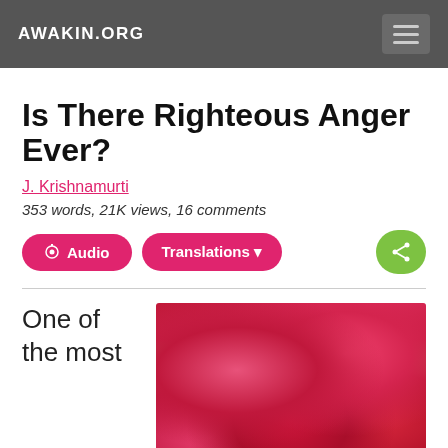AWAKIN.ORG
Is There Righteous Anger Ever?
J. Krishnamurti
353 words, 21K views, 16 comments
Audio   Translations
One of the most
[Figure (photo): Close-up photograph of red and pink rose petals with some fingers visible holding them]